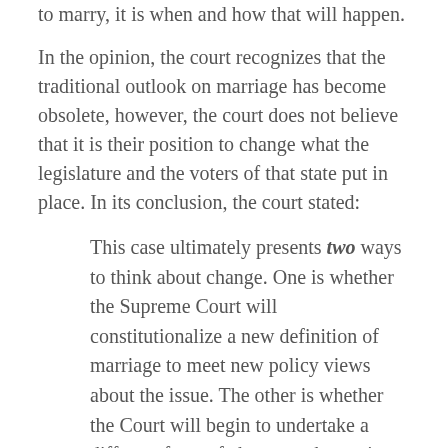to marry, it is when and how that will happen.
In the opinion, the court recognizes that the traditional outlook on marriage has become obsolete, however, the court does not believe that it is their position to change what the legislature and the voters of that state put in place. In its conclusion, the court stated:
This case ultimately presents two ways to think about change. One is whether the Supreme Court will constitutionalize a new definition of marriage to meet new policy views about the issue. The other is whether the Court will begin to undertake a different form of change—change in the way we as a country optimize the handling of efforts to address requests for new civil liberties.
If the Court takes the first approach, it may